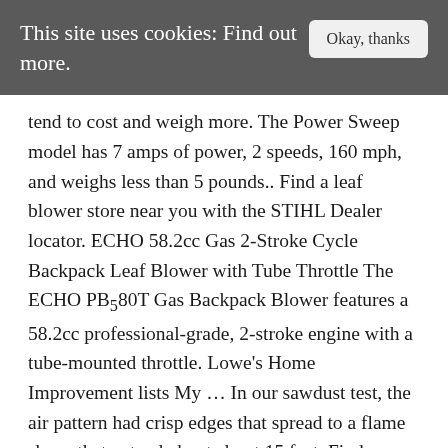This site uses cookies: Find out more.
tend to cost and weigh more. The Power Sweep model has 7 amps of power, 2 speeds, 160 mph, and weighs less than 5 pounds.. Find a leaf blower store near you with the STIHL Dealer locator. ECHO 58.2cc Gas 2-Stroke Cycle Backpack Leaf Blower with Tube Throttle The ECHO PB580T Gas Backpack Blower features a 58.2cc professional-grade, 2-stroke engine with a tube-mounted throttle. Lowe’s Home Improvement lists My ... In our sawdust test, the air pattern had crisp edges that spread to a flame shape that extended out about 15 feet. Find helpful customer